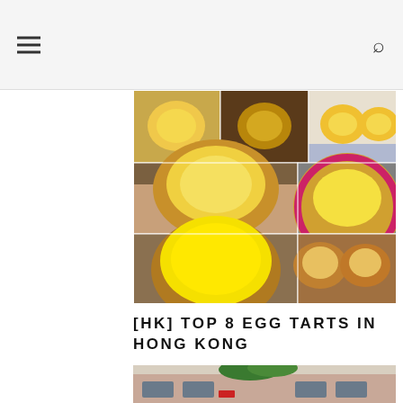navigation header with hamburger menu and search icon
[Figure (photo): Collage of 6 Hong Kong egg tart photos arranged in a grid: top row shows 3 egg tarts in hands and on a plate, bottom two rows show close-ups of egg tarts from different vendors]
[HK] TOP 8 EGG TARTS IN HONG KONG
[Figure (photo): Exterior storefront photo of a bakery with palm trees visible, building facade with windows and a red sign, partially cut off at bottom of page]